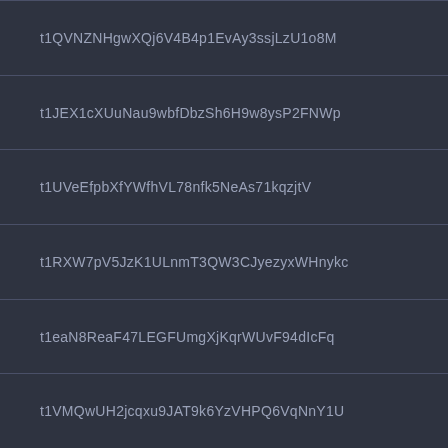t1QVNZNHgwXQj6V4B4p1EvAy3ssjLzU1o8M
t1JEX1cXUuNau9wbfDbzSh6H9w8ysP2FNWp
t1UVeEfpbXfYWfhVL78nfk5NeAs71kqzjtV
t1RXW7pV5JzK1ULnmT3QW3CJyezyxWHnykc
t1eaN8ReaF47LEGFUmgXjKqrWUvF94dIcFq
t1VMQwUH2jcqxu9JAT9k6YzVHPQ6VqNnY1U